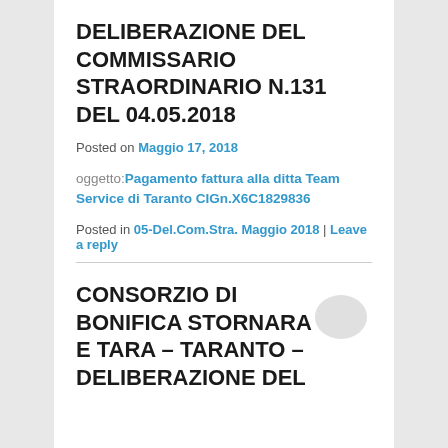DELIBERAZIONE DEL COMMISSARIO STRAORDINARIO N.131 DEL 04.05.2018
Posted on Maggio 17, 2018
oggetto: Pagamento fattura alla ditta Team Service di Taranto CIGn.X6C1829836
Posted in 05-Del.Com.Stra. Maggio 2018 | Leave a reply
CONSORZIO DI BONIFICA STORNARA E TARA – TARANTO – DELIBERAZIONE DEL